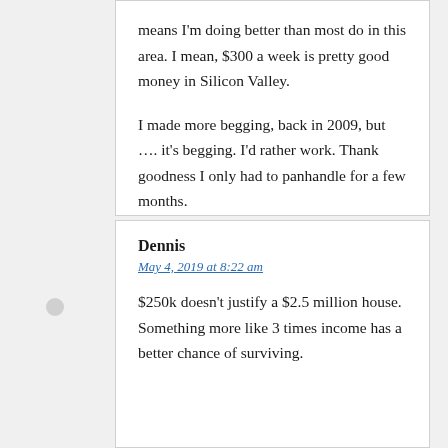means I'm doing better than most do in this area. I mean, $300 a week is pretty good money in Silicon Valley.

I made more begging, back in 2009, but …. it's begging. I'd rather work. Thank goodness I only had to panhandle for a few months.
Dennis
May 4, 2019 at 8:22 am
$250k doesn't justify a $2.5 million house. Something more like 3 times income has a better chance of surviving.